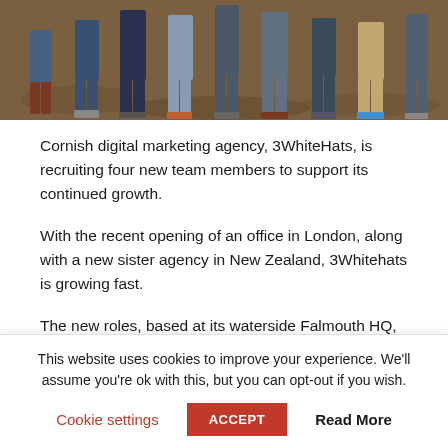[Figure (photo): Cropped photo showing the lower bodies and legs of a group of people standing together outdoors on earthy/rocky ground, wearing jeans and boots.]
Cornish digital marketing agency, 3WhiteHats, is recruiting four new team members to support its continued growth.
With the recent opening of an office in London, along with a new sister agency in New Zealand, 3Whitehats is growing fast.
The new roles, based at its waterside Falmouth HQ, will help drive the agency forward following a sustained period of new client wins. 3WhiteHats has won projects with one of the
This website uses cookies to improve your experience. We'll assume you're ok with this, but you can opt-out if you wish.
Cookie settings   ACCEPT   Read More